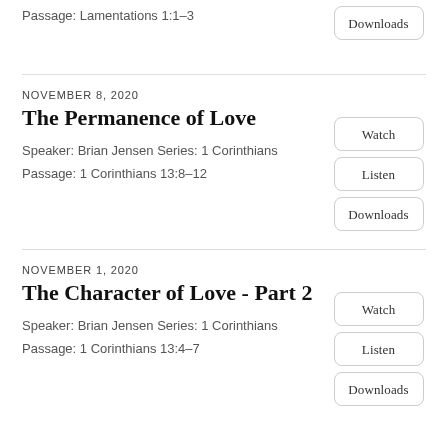Passage: Lamentations 1:1–3
Downloads
NOVEMBER 8, 2020
The Permanence of Love
Speaker: Brian Jensen Series: 1 Corinthians
Passage: 1 Corinthians 13:8–12
Watch
Listen
Downloads
NOVEMBER 1, 2020
The Character of Love - Part 2
Speaker: Brian Jensen Series: 1 Corinthians
Passage: 1 Corinthians 13:4–7
Watch
Listen
Downloads